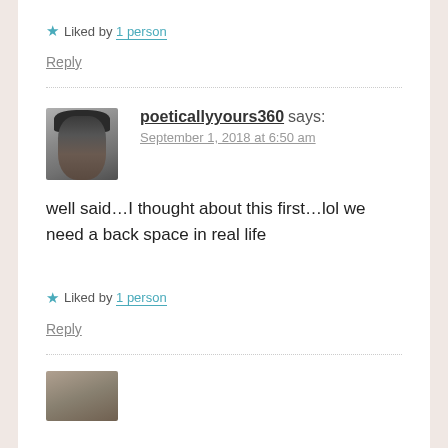★ Liked by 1 person
Reply
poeticallyyours360 says:
September 1, 2018 at 6:50 am
well said…I thought about this first…lol we need a back space in real life
★ Liked by 1 person
Reply